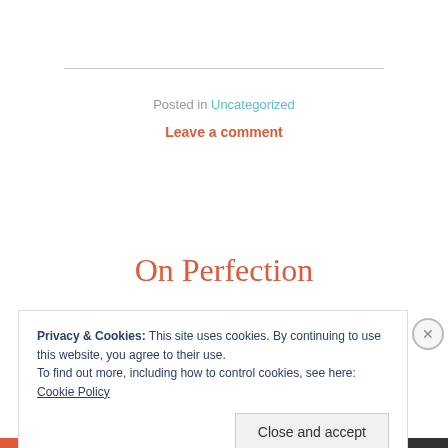Posted in Uncategorized
Leave a comment
On Perfection
Privacy & Cookies: This site uses cookies. By continuing to use this website, you agree to their use.
To find out more, including how to control cookies, see here:
Cookie Policy
Close and accept